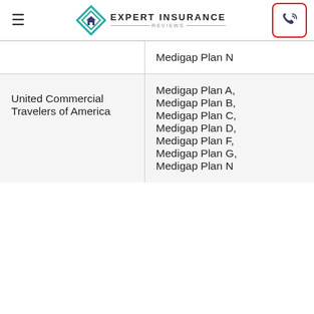Expert Insurance Reviews
| Company | Plans |
| --- | --- |
|  | Medigap Plan N |
| United Commercial Travelers of America | Medigap Plan A, Medigap Plan B, Medigap Plan C, Medigap Plan D, Medigap Plan F, Medigap Plan G, Medigap Plan N |